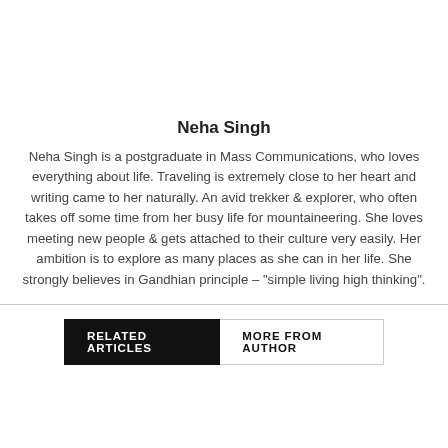Neha Singh
Neha Singh is a postgraduate in Mass Communications, who loves everything about life. Traveling is extremely close to her heart and writing came to her naturally. An avid trekker & explorer, who often takes off some time from her busy life for mountaineering. She loves meeting new people & gets attached to their culture very easily. Her ambition is to explore as many places as she can in her life. She strongly believes in Gandhian principle – "simple living high thinking".
RELATED ARTICLES | MORE FROM AUTHOR